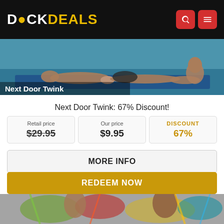DICKDEALS
[Figure (photo): Promotional banner photo for Next Door Twink showing people at a pool/beach scene]
Next Door Twink
Next Door Twink: 67% Discount!
| Retail price | Our price | DISCOUNT |
| --- | --- | --- |
| $29.95 | $9.95 | 67% |
MORE INFO
REDEEM NOW
[Figure (photo): Promotional banner photo showing two men covered in colorful paint]